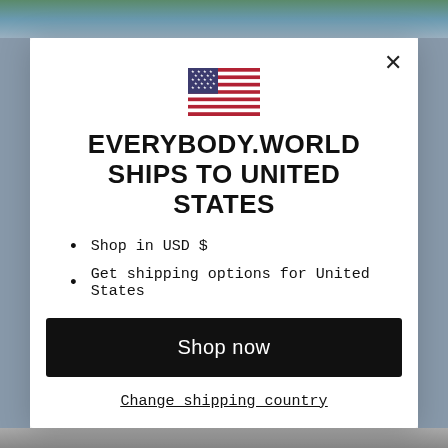[Figure (screenshot): Background photo of people in colorful clothing, partially obscured by modal overlay]
[Figure (illustration): US flag emoji/icon centered at top of modal]
EVERYBODY.WORLD SHIPS TO UNITED STATES
Shop in USD $
Get shipping options for United States
Shop now
Change shipping country